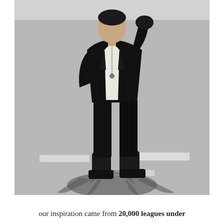[Figure (photo): A person wearing a black blazer over a white shirt, black skinny trousers, and black lace-up boots, standing on a road/street with a dramatic shadow cast behind them. The background shows a suburban street scene.]
our inspiration came from 20,000 leagues under